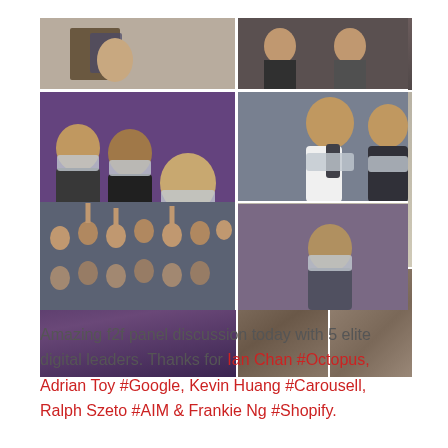[Figure (photo): Photo collage of a face-to-face panel discussion event showing multiple photos: top row has three photos of individuals, middle row shows a group seated panel discussion in a room with purple walls, and a close-up of an individual, and bottom row shows an audience with hands raised and two more individual shots.]
Amazing f2f panel discussion today with 5 elite digital leaders. Thanks for Ian Chan #Octopus, Adrian Toy #Google, Kevin Huang #Carousell, Ralph Szeto #AIM & Frankie Ng #Shopify.